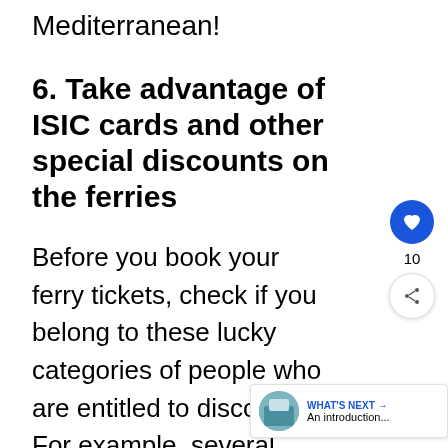Mediterranean!
6. Take advantage of ISIC cards and other special discounts on the ferries
Before you book your ferry tickets, check if you belong to these lucky categories of people who are entitled to discounts. For example, several companies offer a 50% discount for ISIC student card holders.